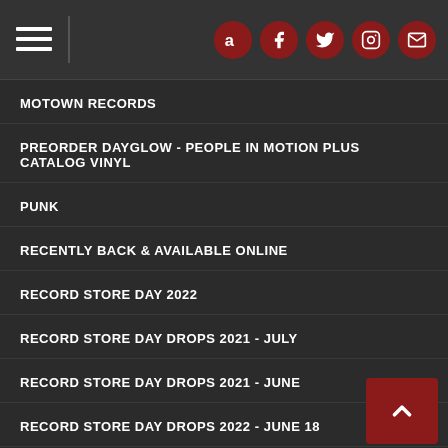Navigation header with hamburger menu and social icons (Amazon, Facebook, Twitter, Instagram, Email)
MOTOWN RECORDS
PREORDER DAYGLOW - PEOPLE IN MOTION PLUS CATALOG VINYL
PUNK
RECENTLY BACK & AVAILABLE ONLINE
RECORD STORE DAY 2022
RECORD STORE DAY DROPS 2021 - JULY
RECORD STORE DAY DROPS 2021 - JUNE
RECORD STORE DAY DROPS 2022 - JUNE 18
RHINO JAZZ APPRECIATION MONTH
ROXY MUSIC